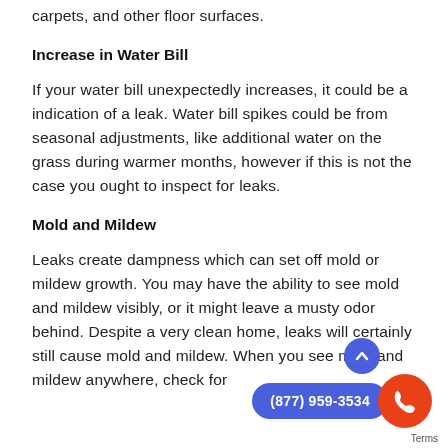carpets, and other floor surfaces.
Increase in Water Bill
If your water bill unexpectedly increases, it could be a indication of a leak. Water bill spikes could be from seasonal adjustments, like additional water on the grass during warmer months, however if this is not the case you ought to inspect for leaks.
Mold and Mildew
Leaks create dampness which can set off mold or mildew growth. You may have the ability to see mold and mildew visibly, or it might leave a musty odor behind. Despite a very clean home, leaks will certainly still cause mold and mildew. When you see mold and mildew anywhere, check for